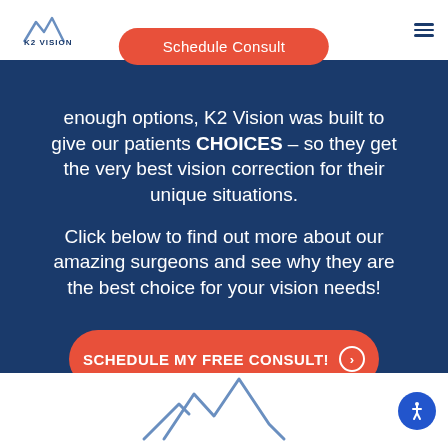K2 Vision
Schedule Consult
enough options, K2 Vision was built to give our patients CHOICES – so they get the very best vision correction for their unique situations.
Click below to find out more about our amazing surgeons and see why they are the best choice for your vision needs!
SCHEDULE MY FREE CONSULT!
CLICK TO CALL!
[Figure (logo): K2 Vision mountain logo at bottom of page]